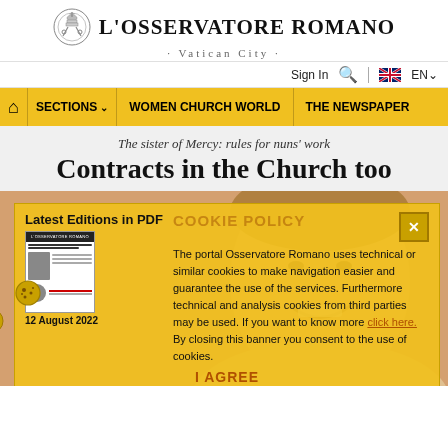L'OSSERVATORE ROMANO · Vatican City ·
Sign In
EN
SECTIONS | WOMEN CHURCH WORLD | THE NEWSPAPER
The sister of Mercy: rules for nuns' work
Contracts in the Church too
[Figure (photo): Close-up photo of a smiling woman with short hair against a warm background, partially obscured by cookie policy overlay]
Latest Editions in PDF
12 August 2022
COOKIE POLICY
The portal Osservatore Romano uses technical or similar cookies to make navigation easier and guarantee the use of the services. Furthermore technical and analysis cookies from third parties may be used. If you want to know more click here. By closing this banner you consent to the use of cookies.
I AGREE